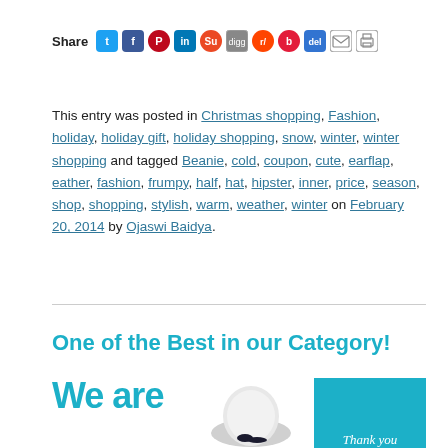[Figure (other): Social share bar with icons for Twitter, Facebook, Pinterest, LinkedIn, StumbleUpon, Digg, Reddit, Beatport, Del.icio.us, email, and print]
This entry was posted in Christmas shopping, Fashion, holiday, holiday gift, holiday shopping, snow, winter, winter shopping and tagged Beanie, cold, coupon, cute, earflap, eather, fashion, frumpy, half, hat, hipster, inner, price, season, shop, shopping, stylish, warm, weather, winter on February 20, 2014 by Ojaswi Baidya.
One of the Best in our Category!
[Figure (photo): Banner image with 'We are' text in teal, a beanie hat photo in center, and a teal box with 'Thank you' text on the right]